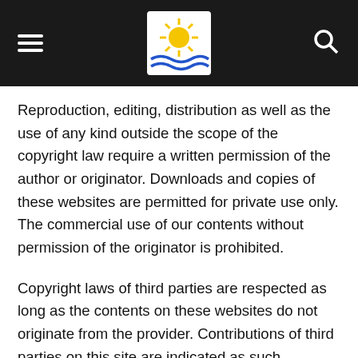[Navigation header with hamburger menu, Philippine sun logo, and search icon]
Reproduction, editing, distribution as well as the use of any kind outside the scope of the copyright law require a written permission of the author or originator. Downloads and copies of these websites are permitted for private use only. The commercial use of our contents without permission of the originator is prohibited.
Copyright laws of third parties are respected as long as the contents on these websites do not originate from the provider. Contributions of third parties on this site are indicated as such. However, if you notice any violations of copyright law, please inform us. Such contents will be removed immediately.